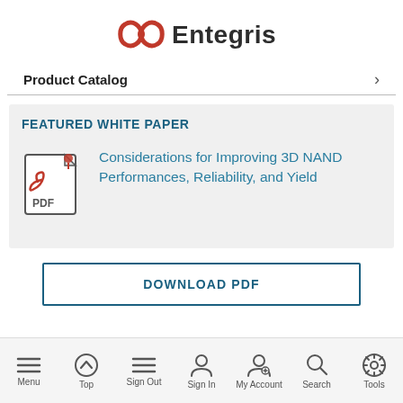[Figure (logo): Entegris company logo with red swirl icon and dark text]
Product Catalog
FEATURED WHITE PAPER
Considerations for Improving 3D NAND Performances, Reliability, and Yield
DOWNLOAD PDF
Menu  Top  Sign Out  Sign In  My Account  Search  Tools